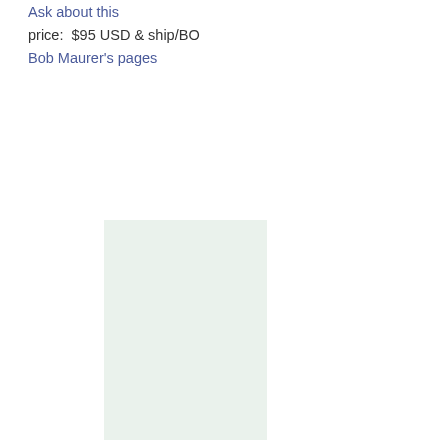Ask about this
price:  $95 USD & ship/BO
Bob Maurer's pages
[Figure (other): A light mint/green colored rectangular placeholder image area]